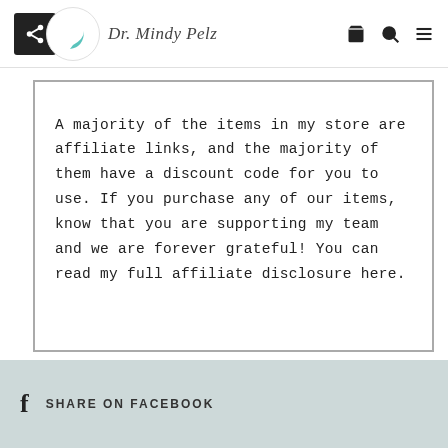Dr. Mindy Pelz
A majority of the items in my store are affiliate links, and the majority of them have a discount code for you to use. If you purchase any of our items, know that you are supporting my team and we are forever grateful! You can read my full affiliate disclosure here.
SHARE ON FACEBOOK